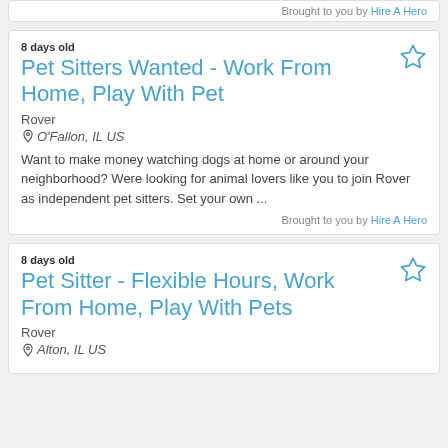Brought to you by Hire A Hero
8 days old
Pet Sitters Wanted - Work From Home, Play With Pet
Rover
O'Fallon, IL US
Want to make money watching dogs at home or around your neighborhood? Were looking for animal lovers like you to join Rover as independent pet sitters. Set your own ...
Brought to you by Hire A Hero
8 days old
Pet Sitter - Flexible Hours, Work From Home, Play With Pets
Rover
Alton, IL US